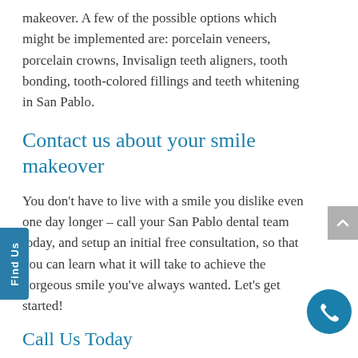makeover. A few of the possible options which might be implemented are: porcelain veneers, porcelain crowns, Invisalign teeth aligners, tooth bonding, tooth-colored fillings and teeth whitening in San Pablo.
Contact us about your smile makeover
You don't have to live with a smile you dislike even one day longer – call your San Pablo dental team today, and setup an initial free consultation, so that you can learn what it will take to achieve the gorgeous smile you've always wanted. Let's get started!
Call Us Today